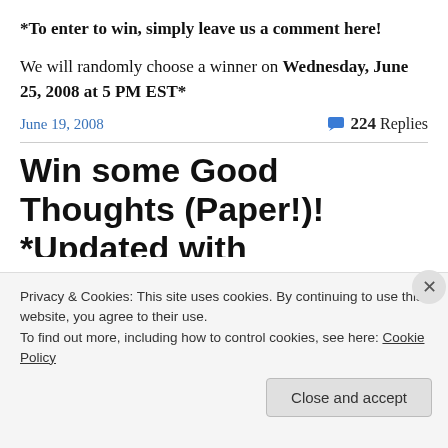*To enter to win, simply leave us a comment here!
We will randomly choose a winner on Wednesday, June 25, 2008 at 5 PM EST*
June 19, 2008
224 Replies
Win some Good Thoughts (Paper!)! *Updated with
Privacy & Cookies: This site uses cookies. By continuing to use this website, you agree to their use.
To find out more, including how to control cookies, see here: Cookie Policy
Close and accept